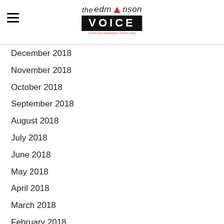Edmonson Voice
December 2018
November 2018
October 2018
September 2018
August 2018
July 2018
June 2018
May 2018
April 2018
March 2018
February 2018
January 2018
December 2017
November 2017
October 2017
September 2017
August 2017
July 2017